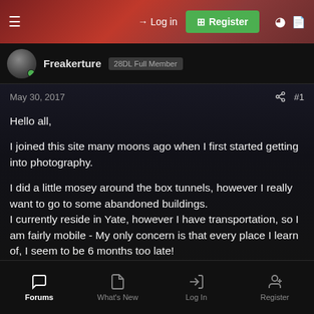Log in | Register
Freakerture  28DL Full Member
May 30, 2017  #1
Hello all,

I joined this site many moons ago when I first started getting into photography.

I did a little mosey around the box tunnels, however I really want to go to some abandoned buildings.
I currently reside in Yate, however I have transportation, so I am fairly mobile - My only concern is that every place I learn of, I seem to be 6 months too late!
Forums  What's New  Log In  Register